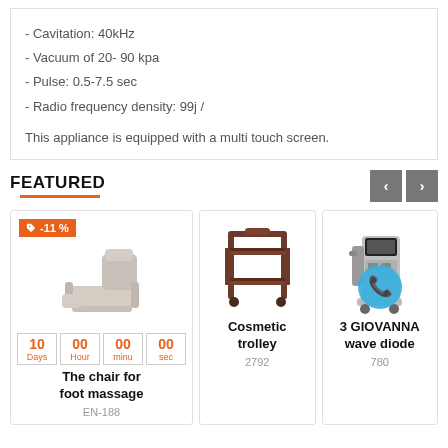- Cavitation: 40kHz
- Vacuum of 20- 90 kpa
- Pulse: 0.5-7.5 sec
- Radio frequency density: 99j /
This appliance is equipped with a multi touch screen.
FEATURED
[Figure (photo): The chair for foot massage product card with -11% discount badge and countdown timer showing 10 Days 00 Hour 00 minu 00 sec, product name: The chair for foot massage, code: EN-188]
[Figure (photo): Cosmetic trolley product card showing a dark wood trolley, product name: Cosmetic trolley, code: 2792]
[Figure (photo): 3 GIOVANNA wave diode product card with phone icon overlay, product name: 3 GIOVANNA wave diode, code: 780]